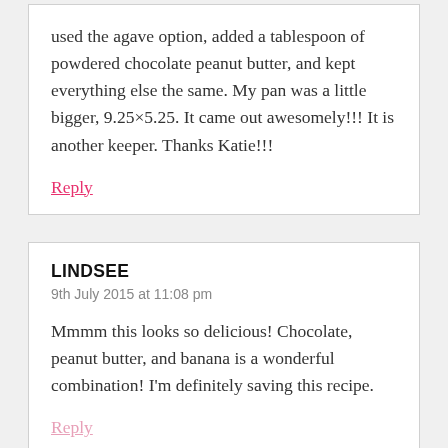used the agave option, added a tablespoon of powdered chocolate peanut butter, and kept everything else the same. My pan was a little bigger, 9.25×5.25. It came out awesomely!!! It is another keeper. Thanks Katie!!!
Reply
LINDSEE
9th July 2015 at 11:08 pm
Mmmm this looks so delicious! Chocolate, peanut butter, and banana is a wonderful combination! I'm definitely saving this recipe.
Reply